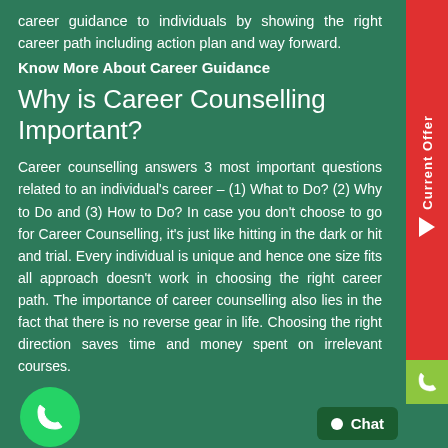career guidance to individuals by showing the right career path including action plan and way forward.
Know More About Career Guidance
Why is Career Counselling Important?
Career counselling answers 3 most important questions related to an individual's career – (1) What to Do? (2) Why to Do and (3) How to Do? In case you don't choose to go for Career Counselling, it's just like hitting in the dark or hit and trial. Every individual is unique and hence one size fits all approach doesn't work in choosing the right career path. The importance of career counselling also lies in the fact that there is no reverse gear in life. Choosing the right direction saves time and money spent on irrelevant courses.
[Figure (illustration): WhatsApp icon - green circle with phone handset logo]
It is generally observed that students, who d...
[Figure (other): Current Offer sidebar button in red on the right edge]
[Figure (other): Phone call button in green on the right edge]
[Figure (other): Chat button at bottom right]